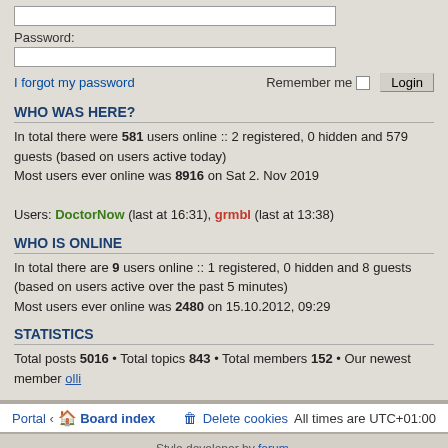Password:
I forgot my password    Remember me   Login
WHO WAS HERE?
In total there were 581 users online :: 2 registered, 0 hidden and 579 guests (based on users active today)
Most users ever online was 8916 on Sat 2. Nov 2019

Users: DoctorNow (last at 16:31), grmbl (last at 13:38)
WHO IS ONLINE
In total there are 9 users online :: 1 registered, 0 hidden and 8 guests (based on users active over the past 5 minutes)
Most users ever online was 2480 on 15.10.2012, 09:29
STATISTICS
Total posts 5016 • Total topics 843 • Total members 152 • Our newest member olli
Portal  ‹  Board index    Delete cookies   All times are UTC+01:00
Style developer by forum,
Powered by phpBB® Forum Software © phpBB Limited
Privacy | Terms